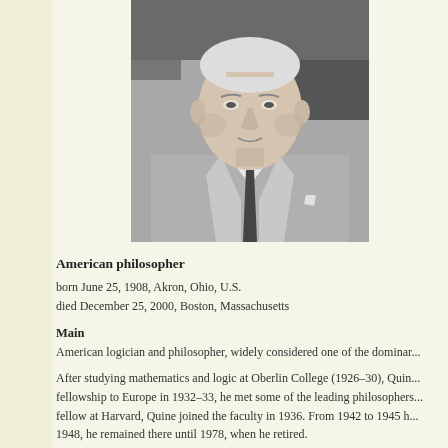[Figure (photo): Black and white portrait photograph of an elderly man in a suit and tie, likely a philosopher or academic.]
American philosopher
born June 25, 1908, Akron, Ohio, U.S.
died December 25, 2000, Boston, Massachusetts
Main
American logician and philosopher, widely considered one of the domin...
After studying mathematics and logic at Oberlin College (1926–30), Quin... fellowship to Europe in 1932–33, he met some of the leading philosophers... fellow at Harvard, Quine joined the faculty in 1936. From 1942 to 1945 h... 1948, he remained there until 1978, when he retired.